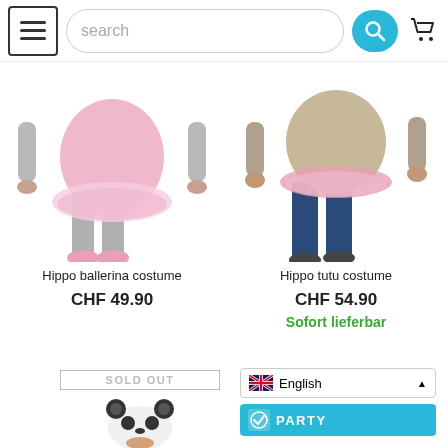[Figure (screenshot): Website navigation bar with hamburger menu, search box, search icon (teal), and shopping cart icon]
[Figure (photo): Hippo ballerina costume product photo showing person in pink hippo body suit with tutu and ballet shoes]
Hippo ballerina costume
CHF 49.90
[Figure (photo): Hippo tutu costume product photo showing person in beige hippo body suit with pink tutu, wearing jeans]
Hippo tutu costume
CHF 54.90
Sofort lieferbar
[Figure (photo): Panda hat costume partially visible at bottom]
SOLD OUT
English
PARTY